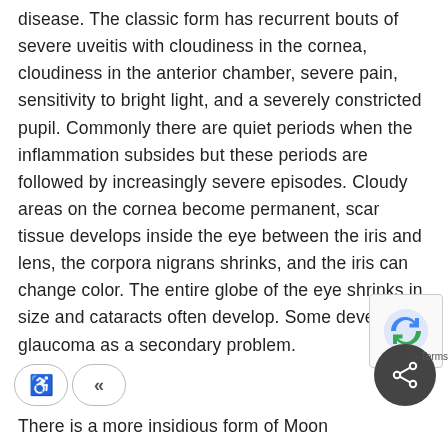disease. The classic form has recurrent bouts of severe uveitis with cloudiness in the cornea, cloudiness in the anterior chamber, severe pain, sensitivity to bright light, and a severely constricted pupil. Commonly there are quiet periods when the inflammation subsides but these periods are followed by increasingly severe episodes. Cloudy areas on the cornea become permanent, scar tissue develops inside the eye between the iris and lens, the corpora nigrans shrinks, and the iris can change color. The entire globe of the eye shrinks in size and cataracts often develop. Some develop glaucoma as a secondary problem.
There is a more insidious form of Moon